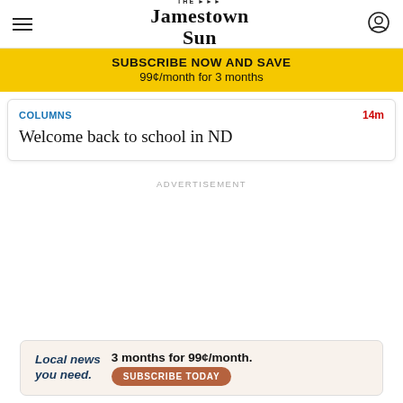THE ▶▶▶ Jamestown Sun
SUBSCRIBE NOW AND SAVE
99¢/month for 3 months
COLUMNS    14m
Welcome back to school in ND
ADVERTISEMENT
Local news you need.   3 months for 99¢/month.   SUBSCRIBE TODAY